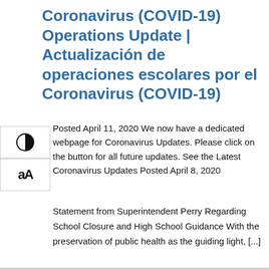Coronavirus (COVID-19) Operations Update | Actualización de operaciones escolares por el Coronavirus (COVID-19)
Posted April 11, 2020 We now have a dedicated webpage for Coronavirus Updates. Please click on the button for all future updates. See the Latest Coronavirus Updates Posted April 8, 2020
Statement from Superintendent Perry Regarding School Closure and High School Guidance With the preservation of public health as the guiding light, [...]